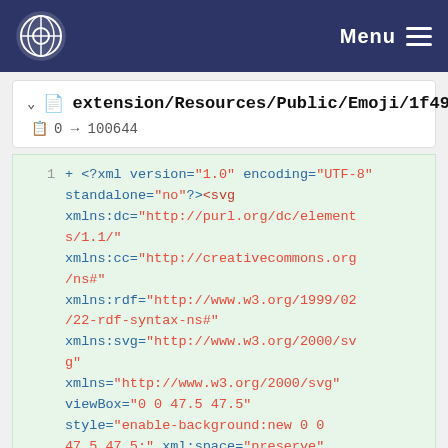Menu
extension/Resources/Public/Emoji/1f496.svg
0 → 100644
+ <?xml version="1.0" encoding="UTF-8" standalone="no"?><svg xmlns:dc="http://purl.org/dc/elements/1.1/" xmlns:cc="http://creativecommons.org/ns#" xmlns:rdf="http://www.w3.org/1999/02/22-rdf-syntax-ns#" xmlns:svg="http://www.w3.org/2000/svg" xmlns="http://www.w3.org/2000/svg" viewBox="0 0 47.5 47.5" style="enable-background:new 0 0 47.5 47.5;" xml:space="preserve" version="1.1" id="svg2"><metadata id="metadata8"><rdf:RDF><cc:Work